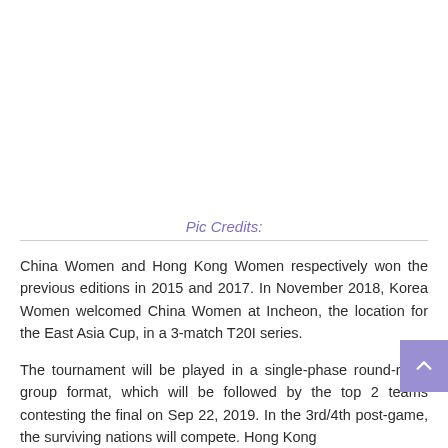Pic Credits:
China Women and Hong Kong Women respectively won the previous editions in 2015 and 2017. In November 2018, Korea Women welcomed China Women at Incheon, the location for the East Asia Cup, in a 3-match T20I series.
The tournament will be played in a single-phase round-robin group format, which will be followed by the top 2 teams contesting the final on Sep 22, 2019. In the 3rd/4th post-game, the surviving nations will compete. Hong Kong